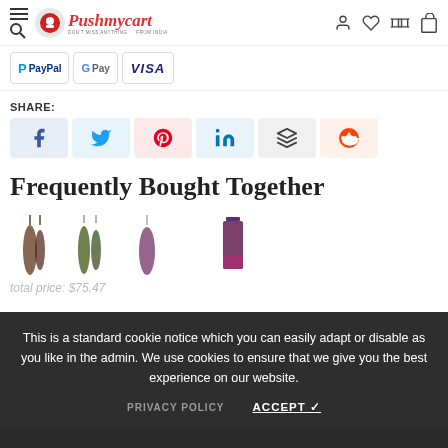Pushmycart — DON'T MISS ANYTHING FROM INDIA
[Figure (logo): Pushmycart logo with red circle icon and italic script text]
[Figure (infographic): Payment method badges: PayPal, Google Pay, VISA]
SHARE:
[Figure (infographic): Social share buttons: Facebook, Twitter, Pinterest, LinkedIn, Buffer, Reddit]
Frequently Bought Together
[Figure (photo): Product images showing jewelry and cosmetic items]
This is a standard cookie notice which you can easily adapt or disable as you like in the admin. We use cookies to ensure that we give you the best experience on our website.
PRIVACY POLICY   ACCEPT ✓